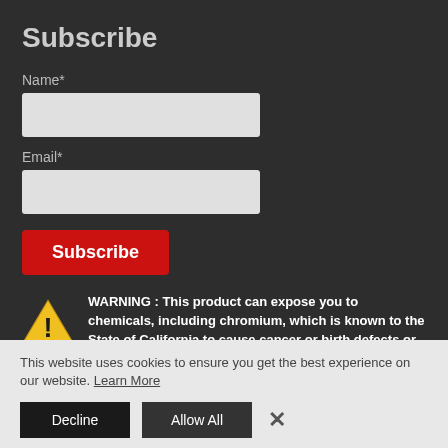Subscribe
Name*
Email*
Subscribe
WARNING : This product can expose you to chemicals, including chromium, which is known to the State of California to cause cancer or birth defects or other reproductive harm. For more information visit www.p65warnings.ca.gov
This website uses cookies to ensure you get the best experience on our website. Learn More
Decline
Allow All